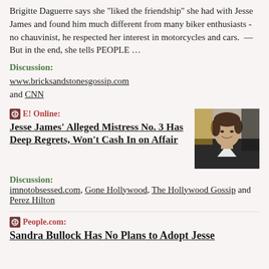Brigitte Daguerre says she "liked the friendship" she had with Jesse James and found him much different from many biker enthusiasts - no chauvinist, he respected her interest in motorcycles and cars.  —  But in the end, she tells PEOPLE …
Discussion: www.bricksandstonesgossip.com and CNN
E! Online: Jesse James' Alleged Mistress No. 3 Has Deep Regrets, Won't Cash In on Affair
[Figure (photo): Photo of a young man with brown hair, smiling, wearing a dark jacket and white shirt]
Discussion: imnotobsessed.com, Gone Hollywood, The Hollywood Gossip and Perez Hilton
People.com: Sandra Bullock Has No Plans to Adopt Jesse